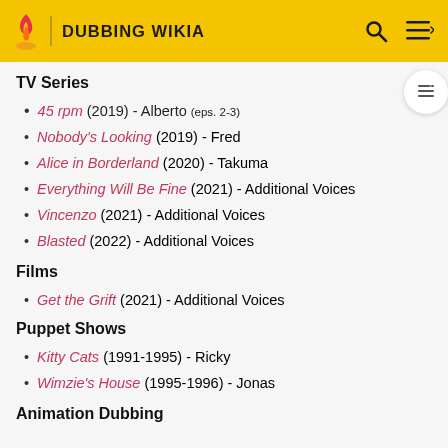DUBBING WIKIA
TV Series
45 rpm (2019) - Alberto (eps. 2-3)
Nobody's Looking (2019) - Fred
Alice in Borderland (2020) - Takuma
Everything Will Be Fine (2021) - Additional Voices
Vincenzo (2021) - Additional Voices
Blasted (2022) - Additional Voices
Films
Get the Grift (2021) - Additional Voices
Puppet Shows
Kitty Cats (1991-1995) - Ricky
Wimzie's House (1995-1996) - Jonas
Animation Dubbing